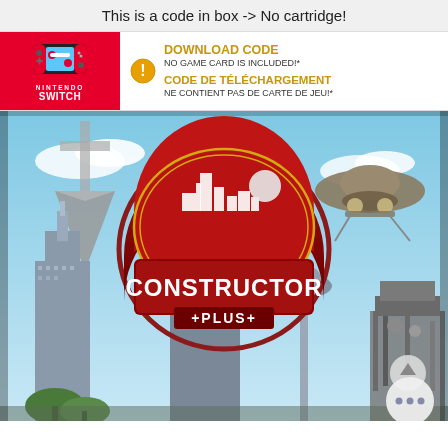This is a code in box -> No cartridge!
[Figure (screenshot): Nintendo Switch product header showing red Nintendo Switch logo box on the left, and download code warning text on the right: 'DOWNLOAD CODE / NO GAME CARD IS INCLUDED!* / CODE DE TÉLÉCHARGEMENT / NE CONTIENT PAS DE CARTE DE JEU!*']
[Figure (photo): Constructor Plus Nintendo Switch game cover showing city skyline with skyscrapers, a space needle, a UFO, and floating pyramid against a blue sky. The Constructor Plus logo is centered prominently.]